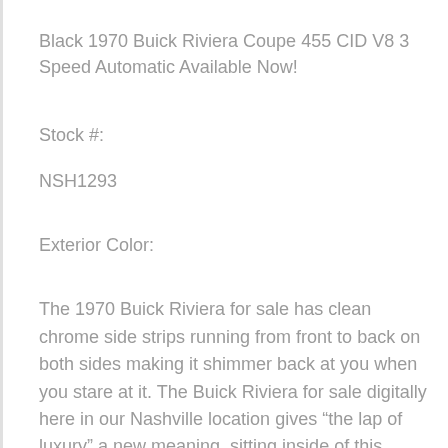Black 1970 Buick Riviera Coupe 455 CID V8 3 Speed Automatic Available Now!
Stock #:
NSH1293
Exterior Color:
The 1970 Buick Riviera for sale has clean chrome side strips running from front to back on both sides making it shimmer back at you when you stare at it. The Buick Riviera for sale digitally here in our Nashville location gives “the lap of luxury” a new meaning, sitting inside of this beauty you can relax on